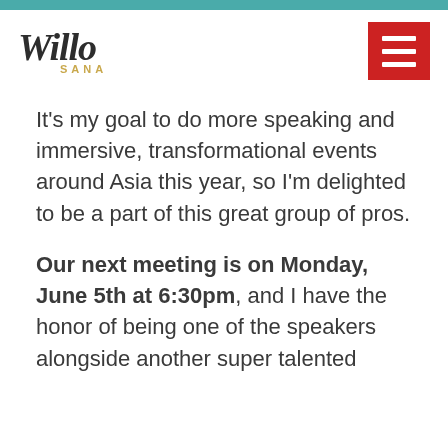[Figure (logo): Willo Sana logo in script font with 'SANA' in gold spaced letters below]
[Figure (other): Red hamburger menu icon button]
It's my goal to do more speaking and immersive, transformational events around Asia this year, so I'm delighted to be a part of this great group of pros.
Our next meeting is on Monday, June 5th at 6:30pm, and I have the honor of being one of the speakers alongside another super talented